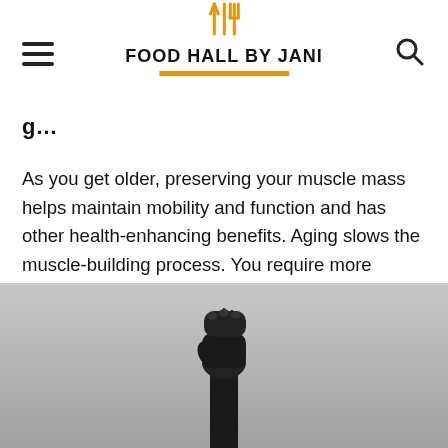Food Hall by Jani
g…
As you get older, preserving your muscle mass helps maintain mobility and function and has other health-enhancing benefits. Aging slows the muscle-building process. You require more protein for muscle synthesis in old age.
[Figure (photo): Black and white photo of a raised fist against a grey background, viewed from below.]